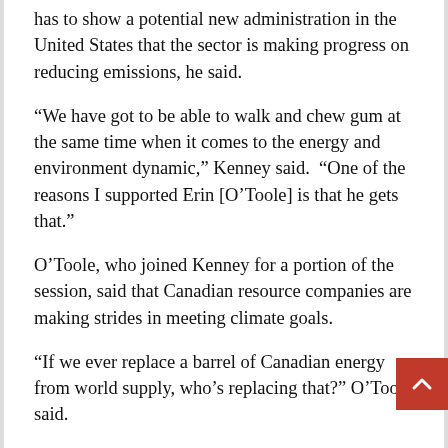has to show a potential new administration in the United States that the sector is making progress on reducing emissions, he said.
“We have got to be able to walk and chew gum at the same time when it comes to the energy and environment dynamic,” Kenney said.  “One of the reasons I supported Erin [O’Toole] is that he gets that.”
O’Toole, who joined Kenney for a portion of the session, said that Canadian resource companies are making strides in meeting climate goals.
“If we ever replace a barrel of Canadian energy from world supply, who’s replacing that?” O’Toole said.
“They don’t care in other countries about carbon intensity, social governance, Indigenous engagement. So we should be proud of what we do here.”
The COVID-19 pandemic forced the UCP to move its annual general meeting online this year, with events spread out over this weekend and next